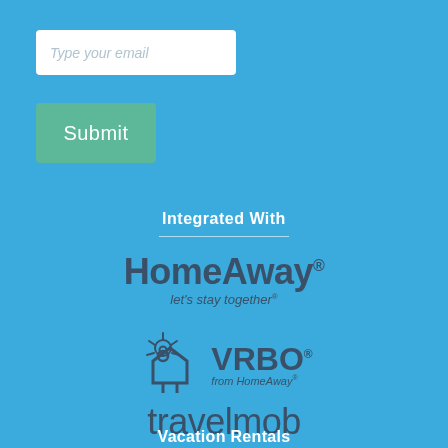[Figure (screenshot): Email input field with placeholder text 'Type your email' on a blue background]
[Figure (screenshot): Green Submit button on a blue background]
Integrated With
[Figure (logo): HomeAway logo with tagline 'let's stay together']
[Figure (logo): VRBO from HomeAway logo with sun/house icon]
[Figure (logo): travelmob logo]
Vacation Rentals